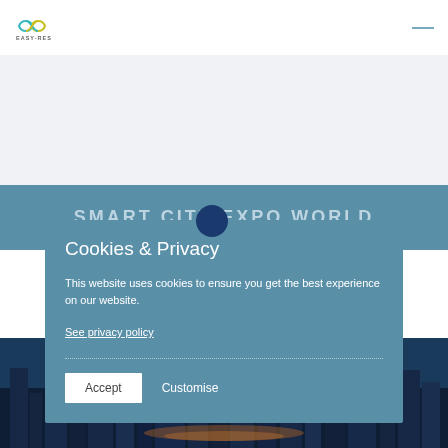[Figure (logo): Easy-Res logo with infinity symbol in teal/green and yellow, with text EASY-RES below]
[Figure (screenshot): Website screenshot showing Smart City Expo World text on blue banner, city skyline photo at bottom, with cookies and privacy modal dialog overlaid]
Cookies & Privacy
This website uses cookies to ensure you get the best experience on our website.
See privacy policy
Accept
Customise